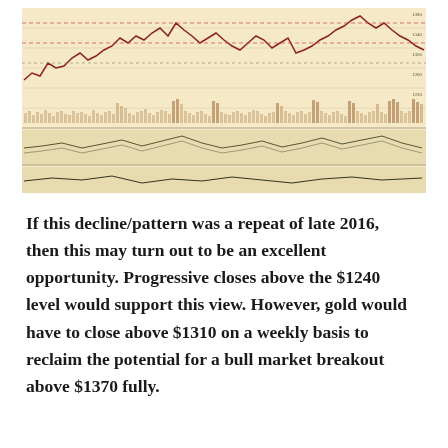[Figure (continuous-plot): Multi-panel financial chart showing gold price history with candlestick/line data on tan/cream background. Top panel shows price action with red/dark lines and volume bars at bottom. Middle panel shows a momentum/oscillator indicator. Bottom panel shows another oscillator line. Multiple horizontal reference lines visible.]
If this decline/pattern was a repeat of late 2016, then this may turn out to be an excellent opportunity. Progressive closes above the $1240 level would support this view. However, gold would have to close above $1310 on a weekly basis to reclaim the potential for a bull market breakout above $1370 fully.